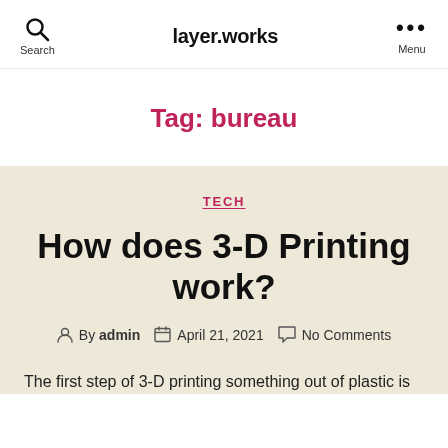layer.works
Tag: bureau
TECH
How does 3-D Printing work?
By admin  April 21, 2021  No Comments
The first step of 3-D printing something out of plastic is